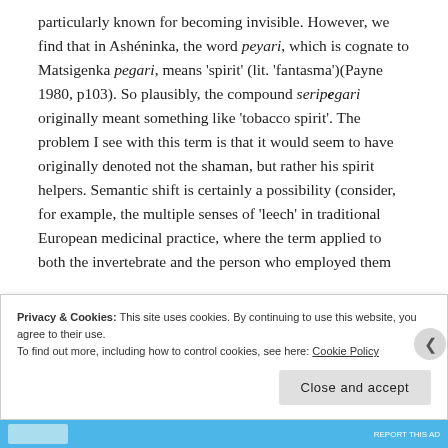particularly known for becoming invisible. However, we find that in Ashéninka, the word peyari, which is cognate to Matsigenka pegari, means 'spirit' (lit. 'fantasma')(Payne 1980, p103). So plausibly, the compound seripegari originally meant something like 'tobacco spirit'. The problem I see with this term is that it would seem to have originally denoted not the shaman, but rather his spirit helpers. Semantic shift is certainly a possibility (consider, for example, the multiple senses of 'leech' in traditional European medicinal practice, where the term applied to both the invertebrate and the person who employed them
Privacy & Cookies: This site uses cookies. By continuing to use this website, you agree to their use.
To find out more, including how to control cookies, see here: Cookie Policy
Close and accept